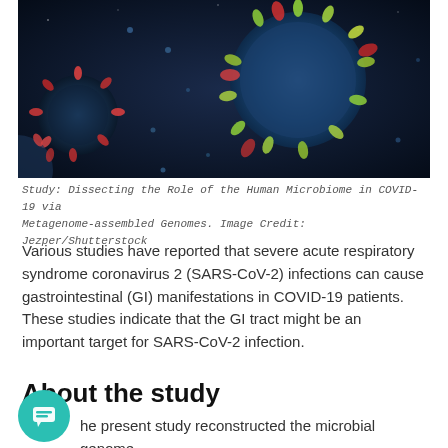[Figure (photo): Microscope image of coronavirus particles (SARS-CoV-2) on a dark background, with colorful spike proteins visible in red, green, and blue colors.]
Study: Dissecting the Role of the Human Microbiome in COVID-19 via Metagenome-assembled Genomes. Image Credit: Jezper/Shutterstock
Various studies have reported that severe acute respiratory syndrome coronavirus 2 (SARS-CoV-2) infections can cause gastrointestinal (GI) manifestations in COVID-19 patients. These studies indicate that the GI tract might be an important target for SARS-CoV-2 infection.
About the study
The present study reconstructed the microbial genome using microbiome samples obtained from COVID-19